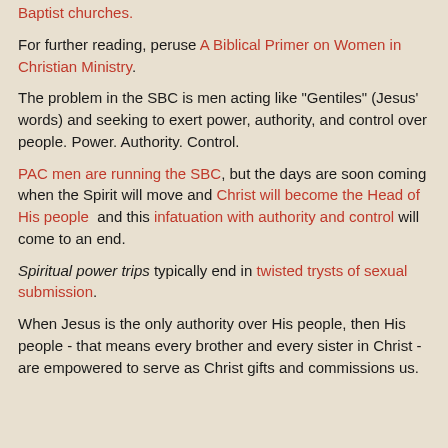Baptist churches.
For further reading, peruse A Biblical Primer on Women in Christian Ministry.
The problem in the SBC is men acting like "Gentiles" (Jesus' words) and seeking to exert power, authority, and control over people. Power. Authority. Control.
PAC men are running the SBC, but the days are soon coming when the Spirit will move and Christ will become the Head of His people  and this infatuation with authority and control will come to an end.
Spiritual power trips typically end in twisted trysts of sexual submission.
When Jesus is the only authority over His people, then His people - that means every brother and every sister in Christ -  are empowered to serve as Christ gifts and commissions us.